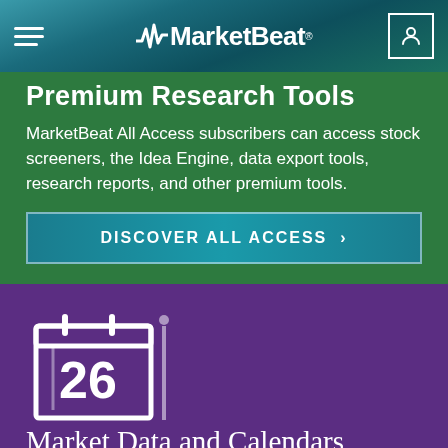MarketBeat
Premium Research Tools
MarketBeat All Access subscribers can access stock screeners, the Idea Engine, data export tools, research reports, and other premium tools.
DISCOVER ALL ACCESS >
[Figure (illustration): Calendar icon showing the number 26 with decorative vertical line, on purple background]
Market Data and Calendars